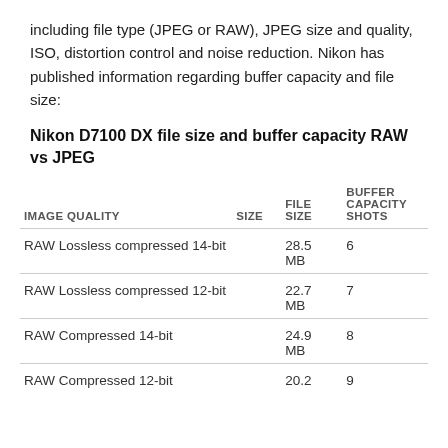including file type (JPEG or RAW), JPEG size and quality, ISO, distortion control and noise reduction. Nikon has published information regarding buffer capacity and file size:
Nikon D7100 DX file size and buffer capacity RAW vs JPEG
| IMAGE QUALITY | SIZE | FILE SIZE | BUFFER CAPACITY SHOTS |
| --- | --- | --- | --- |
| RAW Lossless compressed 14-bit |  | 28.5 MB | 6 |
| RAW Lossless compressed 12-bit |  | 22.7 MB | 7 |
| RAW Compressed 14-bit |  | 24.9 MB | 8 |
| RAW Compressed 12-bit |  | 20.2 | 9 |